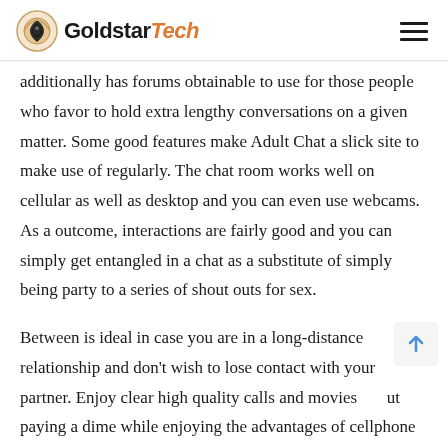GoldstarTech
additionally has forums obtainable to use for those people who favor to hold extra lengthy conversations on a given matter. Some good features make Adult Chat a slick site to make use of regularly. The chat room works well on cellular as well as desktop and you can even use webcams. As a outcome, interactions are fairly good and you can simply get entangled in a chat as a substitute of simply being party to a series of shout outs for sex.
Between is ideal in case you are in a long-distance relationship and don't wish to lose contact with your partner. Enjoy clear high quality calls and movies without paying a dime while enjoying the advantages of cellphone